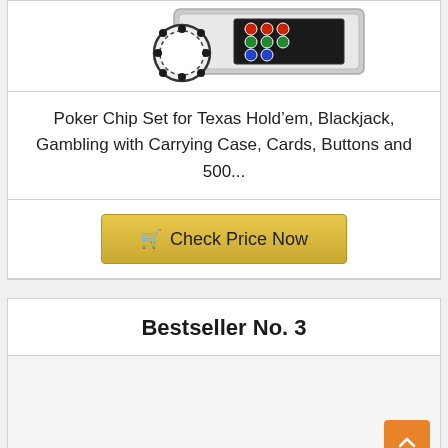[Figure (photo): Poker chip set with carrying case, showing chips and case from above]
Poker Chip Set for Texas Hold’em, Blackjack, Gambling with Carrying Case, Cards, Buttons and 500...
Check Price Now
Bestseller No. 3
[Figure (photo): Product image area (partially visible)]